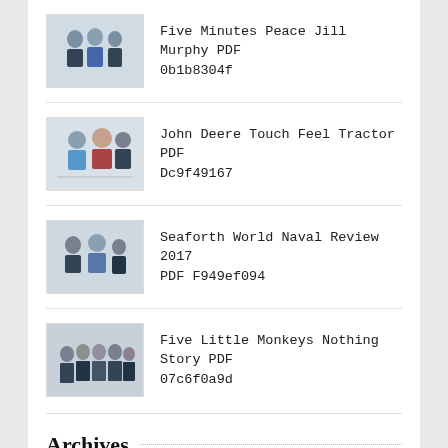Five Minutes Peace Jill Murphy PDF 0b1b8304f
John Deere Touch Feel Tractor PDF Dc9f49167
Seaforth World Naval Review 2017 PDF F949ef094
Five Little Monkeys Nothing Story PDF 07c6f0a9d
Archives
August 2022 (47)
July 2022 (51)
June 2022 (54)